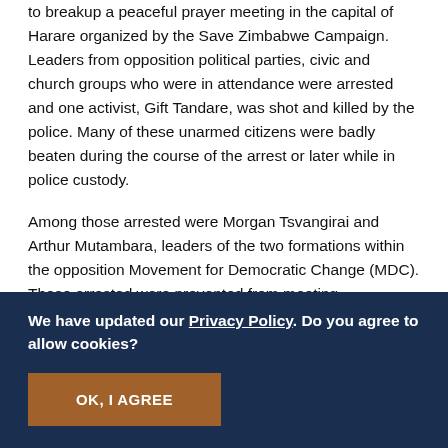to breakup a peaceful prayer meeting in the capital of Harare organized by the Save Zimbabwe Campaign. Leaders from opposition political parties, civic and church groups who were in attendance were arrested and one activist, Gift Tandare, was shot and killed by the police. Many of these unarmed citizens were badly beaten during the course of the arrest or later while in police custody.
Among those arrested were Morgan Tsvangirai and Arthur Mutambara, leaders of the two formations within the opposition Movement for Democratic Change (MDC). Those arrested were prevented from meeting
We have updated our Privacy Policy. Do you agree to allow cookies?
OK, I AGREE